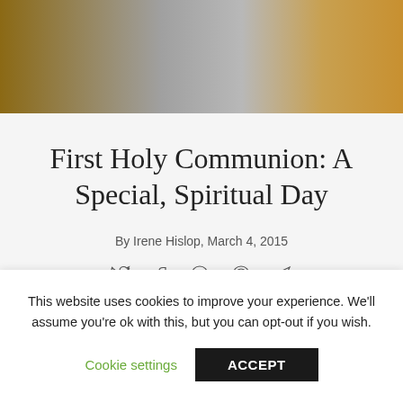[Figure (photo): Blurred photo banner showing warm brown and golden tones, likely a drink or celebration image]
First Holy Communion: A Special, Spiritual Day
By Irene Hislop, March 4, 2015
[Figure (infographic): Social share icons: Twitter, Facebook, Pinterest, WhatsApp, Telegram]
This website uses cookies to improve your experience. We'll assume you're ok with this, but you can opt-out if you wish.
Cookie settings   ACCEPT